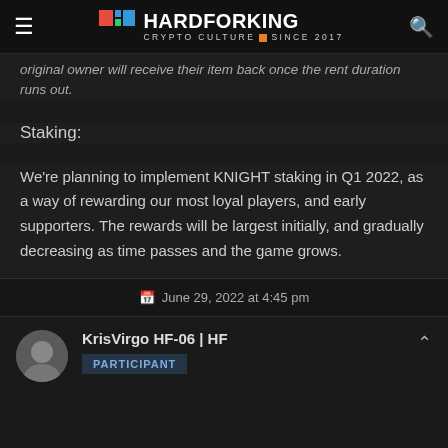HARDFORKING — CRYPTO CULTURE SINCE 2017
original owner will receive their item back once the rent duration runs out.
Staking:
We're planning to implement KNIGHT staking in Q1 2022, as a way of rewarding our most loyal players, and early supporters. The rewards will be largest initially, and gradually decreasing as time passes and the game grows.
June 29, 2022 at 4:45 pm
KrisVirgo HF-06 | HF — PARTICIPANT